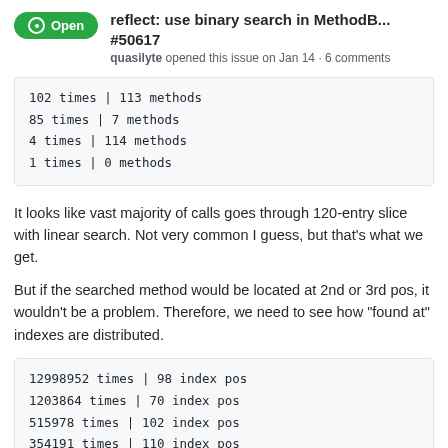reflect: use binary search in MethodB... #50617
quasilyte opened this issue on Jan 14 · 6 comments
102 times | 113 methods
85 times | 7 methods
4 times | 114 methods
1 times | 0 methods
It looks like vast majority of calls goes through 120-entry slice with linear search. Not very common I guess, but that's what we get.
But if the searched method would be located at 2nd or 3rd pos, it wouldn't be a problem. Therefore, we need to see how "found at" indexes are distributed.
12998952 times | 98 index pos
1203864 times | 70 index pos
515978 times | 102 index pos
354191 times | 110 index pos
262965 times | 6 index pos
200819 times | 11 index pos
178457 times | 19 index pos